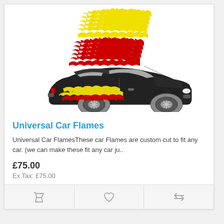[Figure (illustration): Product image showing flame decal stickers in yellow and red colors above a black car with flame graphics applied to its side panels]
Universal Car Flames
Universal Car FlamesThese car Flames are custom cut to fit any car. (we can make these fit any car ju..
£75.00
Ex Tax: £75.00